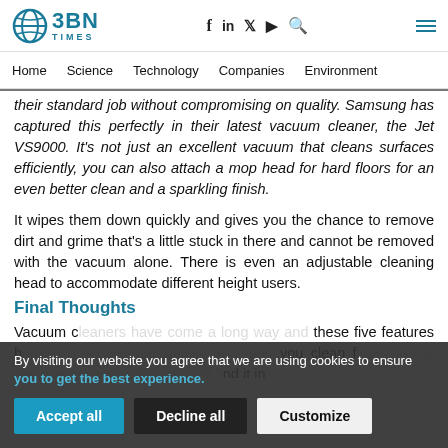BBN Times — Home | Science | Technology | Companies | Environment
their standard job without compromising on quality. Samsung has captured this perfectly in their latest vacuum cleaner, the Jet VS9000. It's not just an excellent vacuum that cleans surfaces efficiently, you can also attach a mop head for hard floors for an even better clean and a sparkling finish.
It wipes them down quickly and gives you the chance to remove dirt and grime that's a little stuck in there and cannot be removed with the vacuum alone. There is even an adjustable cleaning head to accommodate different height users.
Final Thoughts
Vacuum cleaners have come a long way and these five features help to prove greater quality and help you clean floors. All of these are qualities that you will find it in...
By visiting our website you agree that we are using cookies to ensure you to get the best experience.